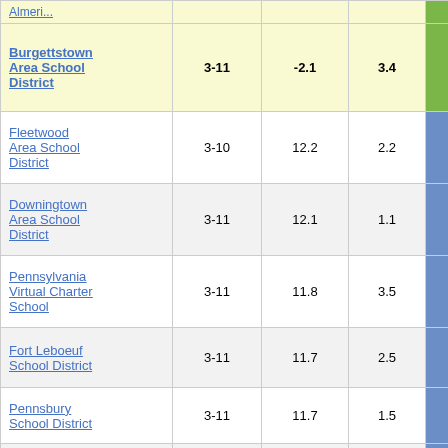| School District | Grades | Col3 | Col4 | Col5 |  |
| --- | --- | --- | --- | --- | --- |
| Almeria... |  |  |  |  |  |
| Burgettstown Area School District | 3-11 | -2.1 | 3.4 | -0.62 | 5 |
| Fleetwood Area School District | 3-10 | 12.2 | 2.2 | 5.68 |  |
| Downingtown Area School District | 3-11 | 12.1 | 1.1 | 10.67 |  |
| Pennsylvania Virtual Charter School | 3-11 | 11.8 | 3.5 | 3.37 |  |
| Fort Leboeuf School District | 3-11 | 11.7 | 2.5 | 4.73 |  |
| Pennsbury School District | 3-11 | 11.7 | 1.5 | 7.90 |  |
| Pennsylvania Cyber Charter School | 3-11 | 11.6 | 1.5 | 7.54 |  |